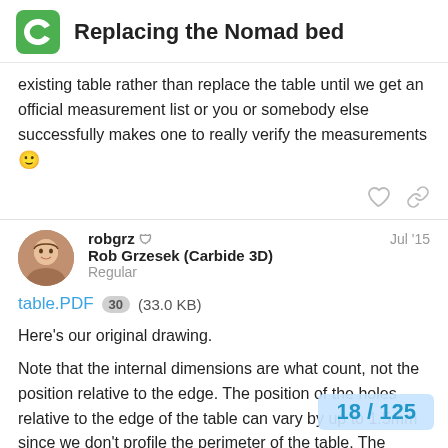Replacing the Nomad bed
existing table rather than replace the table until we get an official measurement list or you or somebody else successfully makes one to really verify the measurements 🙂
robgrz  Jul '15
Rob Grzesek (Carbide 3D)
Regular
table.PDF 30 (33.0 KB)
Here's our original drawing.
Note that the internal dimensions are what count, not the position relative to the edge. The position of the holes relative to the edge of the table can vary by up to 1.5mm since we don't profile the perimeter of the table. The drawing does not reflect this since we machine right from the solid
18 / 125
For what it's worth, MIC 6 is not specified